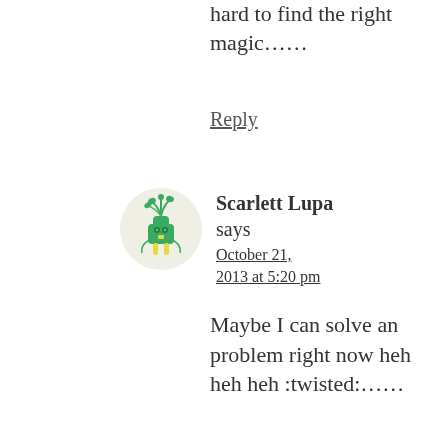hard to find the right magic……
Reply
[Figure (illustration): Cartoon avatar of a green star-shaped creature with plant-like hair growing from its head, standing on two yellow legs, on a light beige circular background]
Scarlett Lupa says October 21, 2013 at 5:20 pm
Maybe I can solve an problem right now heh heh heh :twisted:……